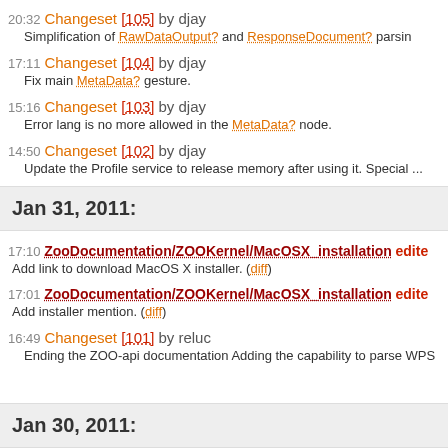20:32 Changeset [105] by djay
Simplification of RawDataOutput? and ResponseDocument? parsin
17:11 Changeset [104] by djay
Fix main MetaData? gesture.
15:16 Changeset [103] by djay
Error lang is no more allowed in the MetaData? node.
14:50 Changeset [102] by djay
Update the Profile service to release memory after using it. Special ...
Jan 31, 2011:
17:10 ZooDocumentation/ZOOKernel/MacOSX_installation edited
Add link to download MacOS X installer. (diff)
17:01 ZooDocumentation/ZOOKernel/MacOSX_installation edited
Add installer mention. (diff)
16:49 Changeset [101] by reluc
Ending the ZOO-api documentation Adding the capability to parse WPS
Jan 30, 2011: